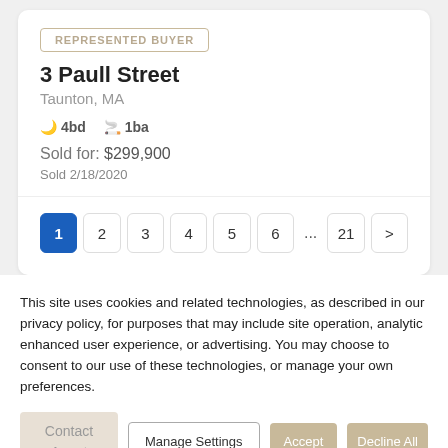REPRESENTED BUYER
3 Paull Street
Taunton, MA
4bd  1ba
Sold for: $299,900
Sold 2/18/2020
Pagination: 1 2 3 4 5 6 ... 21 >
This site uses cookies and related technologies, as described in our privacy policy, for purposes that may include site operation, analytics, enhanced user experience, or advertising. You may choose to consent to our use of these technologies, or manage your own preferences.
Contact Agent  Manage Settings  Accept  Decline All